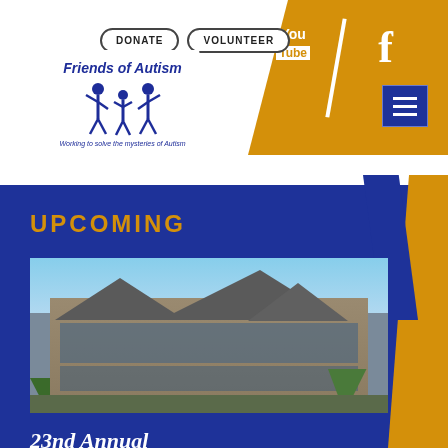[Figure (logo): Friends of Autism logo with three human figures and tagline 'Working to solve the mysteries of Autism']
DONATE
VOLUNTEER
[Figure (screenshot): YouTube and Facebook social media icons on gold background]
[Figure (photo): Building/venue photo for upcoming event - large stone building with gabled roof]
UPCOMING
23rd Annual